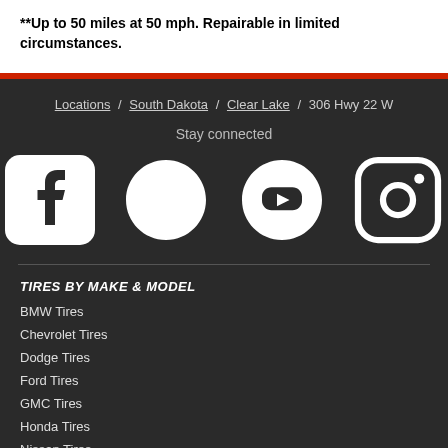**Up to 50 miles at 50 mph. Repairable in limited circumstances.
Locations / South Dakota / Clear Lake / 306 Hwy 22 W
Stay connected
[Figure (illustration): Social media icons: Facebook, Twitter, YouTube, Instagram]
TIRES BY MAKE & MODEL
BMW Tires
Chevrolet Tires
Dodge Tires
Ford Tires
GMC Tires
Honda Tires
Nissan Tires